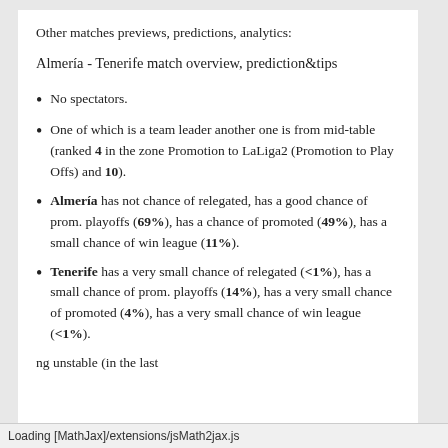Other matches previews, predictions, analytics:
Almería - Tenerife match overview, prediction&tips
No spectators.
One of which is a team leader another one is from mid-table (ranked 4 in the zone Promotion to LaLiga2 (Promotion to Play Offs) and 10).
Almería has not chance of relegated, has a good chance of prom. playoffs (69%), has a chance of promoted (49%), has a small chance of win league (11%).
Tenerife has a very small chance of relegated (<1%), has a small chance of prom. playoffs (14%), has a very small chance of promoted (4%), has a very small chance of win league (<1%).
Loading [MathJax]/extensions/jsMath2jax.js
ng unstable (in the last